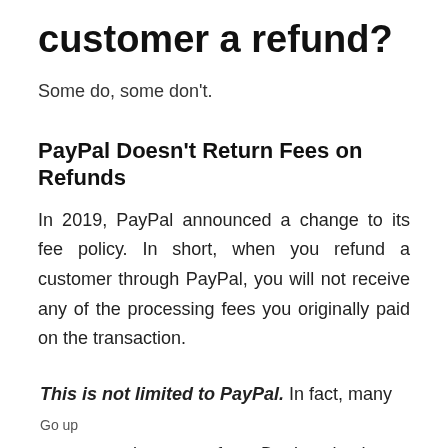customer a refund?
Some do, some don't.
PayPal Doesn't Return Fees on Refunds
In 2019, PayPal announced a change to its fee policy. In short, when you refund a customer through PayPal, you will not receive any of the processing fees you originally paid on the transaction.
This is not limited to PayPal. In fact, many processors keep your fees. Don't make the
Go up